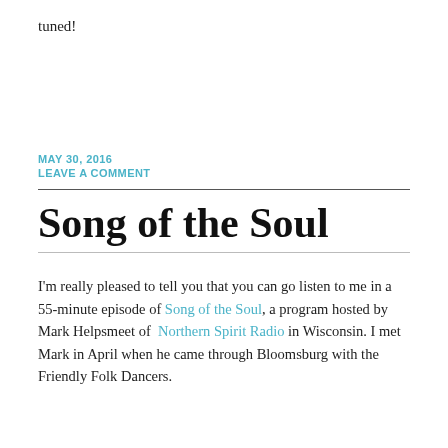tuned!
MAY 30, 2016
LEAVE A COMMENT
Song of the Soul
I'm really pleased to tell you that you can go listen to me in a 55-minute episode of Song of the Soul, a program hosted by Mark Helpsmeet of Northern Spirit Radio in Wisconsin. I met Mark in April when he came through Bloomsburg with the Friendly Folk Dancers.